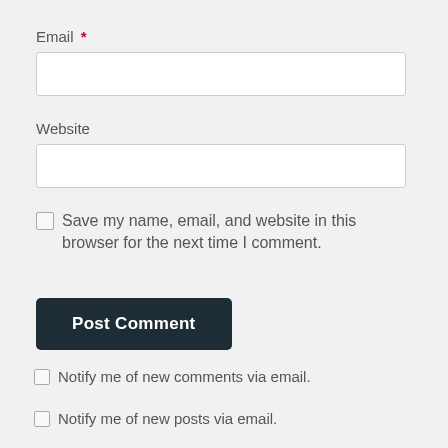Email *
[Figure (other): Email text input field (empty)]
Website
[Figure (other): Website text input field (empty)]
Save my name, email, and website in this browser for the next time I comment.
[Figure (other): Post Comment button (dark background, white text)]
Notify me of new comments via email.
Notify me of new posts via email.